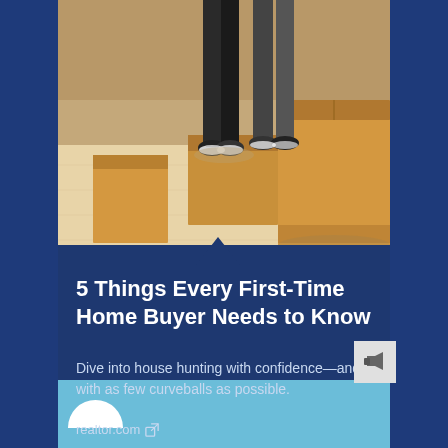[Figure (photo): Photo of people standing near cardboard moving boxes on a light wood floor, feet and legs visible, warm toned background]
5 Things Every First-Time Home Buyer Needs to Know
Dive into house hunting with confidence—and with as few curveballs as possible.
realtor.com